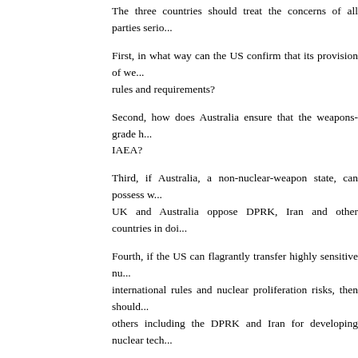The three countries should treat the concerns of all parties serio...
First, in what way can the US confirm that its provision of we... rules and requirements?
Second, how does Australia ensure that the weapons-grade h... IAEA?
Third, if Australia, a non-nuclear-weapon state, can possess w... UK and Australia oppose DPRK, Iran and other countries in doi...
Fourth, if the US can flagrantly transfer highly sensitive nu... international rules and nuclear proliferation risks, then should... others including the DPRK and Iran for developing nuclear tech...
Fifth, if all countries turn a blind to rules and conduct nuclear p... did, then where is the authority and the meaning of existence of...
Yesterday, State Councilor Wang Yi pointed out in his phon... submarine cooperation among the US, the UK and Australi... proliferation risks and shocks to the international non-prolifera... ...ountries should follow it and answer these questions at...